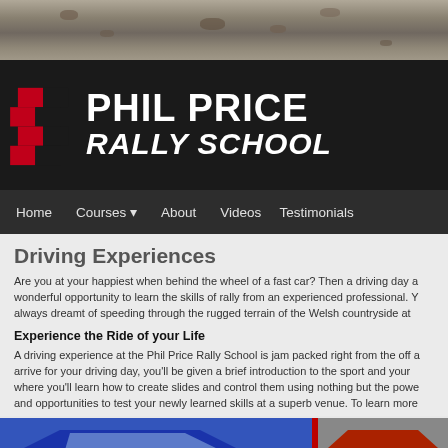[Figure (photo): Gravel/dirt road surface photo strip at top of page]
[Figure (logo): Phil Price Rally School logo with red and black checkered flag icon and white bold text on dark background]
Home | Courses ▼ | About | Videos | Testimonials
Driving Experiences
Are you at your happiest when behind the wheel of a fast car? Then a driving day a wonderful opportunity to learn the skills of rally from an experienced professional. Y always dreamt of speeding through the rugged terrain of the Welsh countryside at
Experience the Ride of your Life
A driving experience at the Phil Price Rally School is jam packed right from the off arrive for your driving day, you'll be given a brief introduction to the sport and your where you'll learn how to create slides and control them using nothing but the powe and opportunities to test your newly learned skills at a superb venue. To learn more
[Figure (photo): Blue rally car on left, partial photo on right, against red background strip at bottom of page]